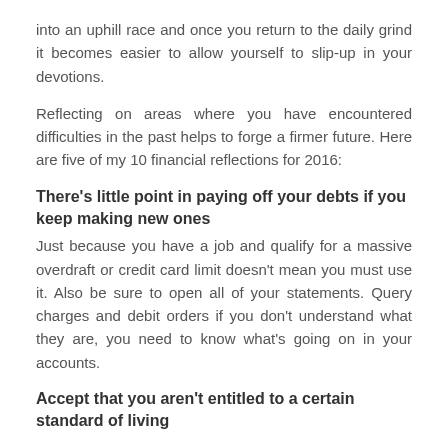into an uphill race and once you return to the daily grind it becomes easier to allow yourself to slip-up in your devotions.
Reflecting on areas where you have encountered difficulties in the past helps to forge a firmer future. Here are five of my 10 financial reflections for 2016:
There's little point in paying off your debts if you keep making new ones
Just because you have a job and qualify for a massive overdraft or credit card limit doesn't mean you must use it. Also be sure to open all of your statements. Query charges and debit orders if you don't understand what they are, you need to know what's going on in your accounts.
Accept that you aren't entitled to a certain standard of living